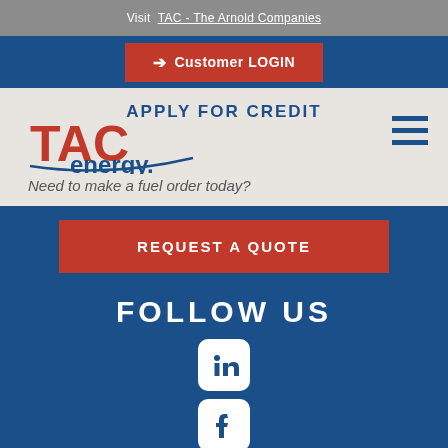Visit TAC - The Arnold Companies
Customer LOGIN
[Figure (logo): TAC energy logo with red TAC letters and blue energy text]
APPLY FOR CREDIT
Need to make a fuel order today?
REQUEST A QUOTE
FOLLOW US
[Figure (illustration): LinkedIn icon - white rounded square with 'in' logo]
[Figure (illustration): Facebook icon - white rounded square with 'f' logo]
[Figure (illustration): Twitter/social icon - white rounded square, partially visible]